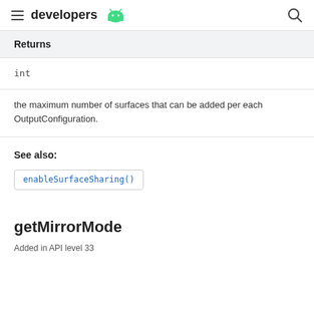developers
Returns
| int |
the maximum number of surfaces that can be added per each OutputConfiguration.
See also:
enableSurfaceSharing()
getMirrorMode
Added in API level 33